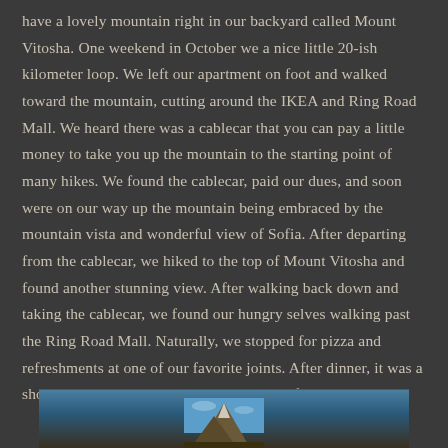have a lovely mountain right in our backyard called Mount Vitosha. One weekend in October we a nice little 20-ish kilometer loop. We left our apartment on foot and walked toward the mountain, cutting around the IKEA and Ring Road Mall. We heard there was a cablecar that you can pay a little money to take you up the mountain to the starting point of many hikes. We found the cablecar, paid our dues, and soon were on our way up the mountain being embraced by the mountain vista and wonderful view of Sofia. After departing from the cablecar, we hiked to the top of Mount Vitosha and found another stunning view. After walking back down and taking the cablecar, we found our hungry selves walking past the Ring Road Mall. Naturally, we stopped for pizza and refreshments at one of our favorite joints. After dinner, it was a short walk home to complete the day. One for the books!
[Figure (photo): Bottom portion of a photo showing a mountain peak or rocky landscape against a blue sky, partially visible at the bottom of the page.]